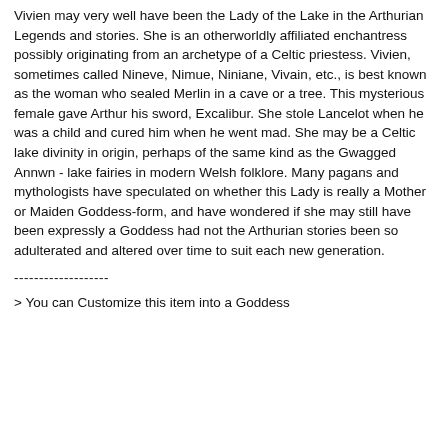Vivien may very well have been the Lady of the Lake in the Arthurian Legends and stories. She is an otherworldly affiliated enchantress possibly originating from an archetype of a Celtic priestess. Vivien, sometimes called Nineve, Nimue, Niniane, Vivain, etc., is best known as the woman who sealed Merlin in a cave or a tree. This mysterious female gave Arthur his sword, Excalibur. She stole Lancelot when he was a child and cured him when he went mad. She may be a Celtic lake divinity in origin, perhaps of the same kind as the Gwagged Annwn - lake fairies in modern Welsh folklore. Many pagans and mythologists have speculated on whether this Lady is really a Mother or Maiden Goddess-form, and have wondered if she may still have been expressly a Goddess had not the Arthurian stories been so adulterated and altered over time to suit each new generation.
-------------------
> You can Customize this item into a Goddess